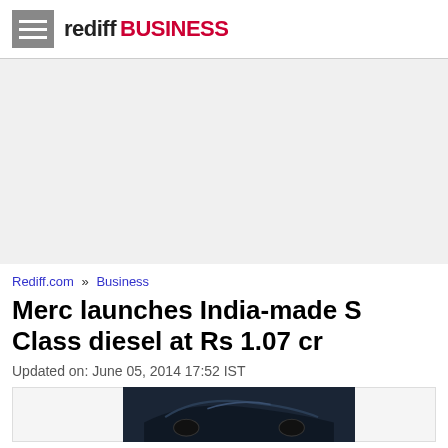rediff BUSINESS
[Figure (other): Advertisement placeholder area (grey background)]
Rediff.com » Business
Merc launches India-made S Class diesel at Rs 1.07 cr
Updated on: June 05, 2014 17:52 IST
[Figure (photo): Dark image of Mercedes S Class car, partially visible]